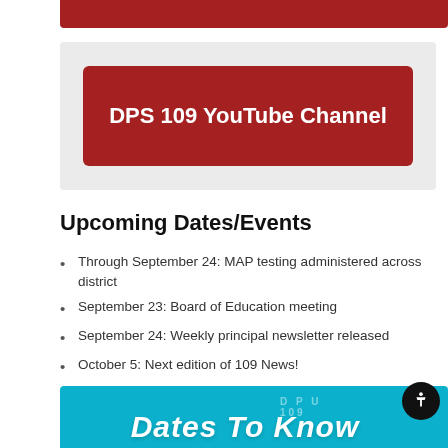[Figure (other): Red decorative bar at top of page]
[Figure (screenshot): Gray box containing a dark red button labeled 'DPS 109 YouTube Channel']
Upcoming Dates/Events
Through September 24: MAP testing administered across district
September 23: Board of Education meeting
September 24: Weekly principal newsletter released
October 5: Next edition of 109 News!
October 11: NO SCHOOL
[Figure (other): Cyan/teal banner at bottom with text 'Dates To Know' and a circular logo watermark]